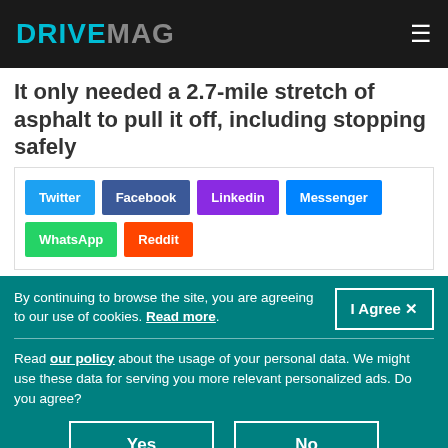DRIVEMAG
It only needed a 2.7-mile stretch of asphalt to pull it off, including stopping safely
Twitter | Facebook | Linkedin | Messenger | WhatsApp | Reddit
By continuing to browse the site, you are agreeing to our use of cookies. Read more.
Read our policy about the usage of your personal data. We might use these data for serving you more relevant personalized ads. Do you agree?
Yes | No
You can change your mind anytime in the Privacy Policy page.